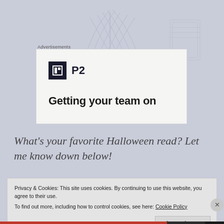[Figure (illustration): Light lavender/blue-grey background with faint outline illustration of open books, serving as page background]
Advertisements
[Figure (screenshot): Advertisement box with P2 logo (dark square icon with letter H and text P2) and partial headline text 'Getting your team on']
What's your favorite Halloween read? Let me know down below!
Privacy & Cookies: This site uses cookies. By continuing to use this website, you agree to their use.
To find out more, including how to control cookies, see here: Cookie Policy
Close and accept